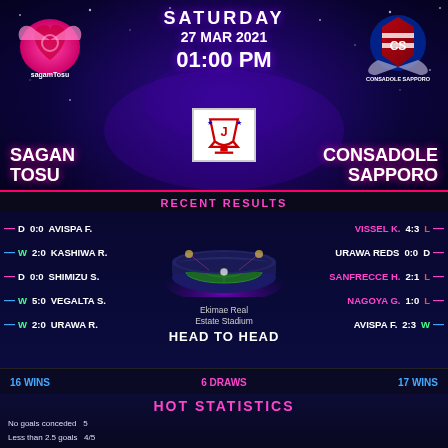[Figure (infographic): Sports match preview graphic for Sagan Tosu vs Consadole Sapporo, Saturday 27 Mar 2021 01:00 PM, with team logos, recent results, head-to-head stats, stadium image, and hot statistics section]
SATURDAY 27 MAR 2021 01:00 PM
SAGAN TOSU vs CONSADOLE SAPPORO
RECENT RESULTS
D 0:0 AVISPA F.
W 2:0 KASHIWA R.
D 0:0 SHIMIZU S.
W 5:0 VEGALTA S.
W 2:0 URAWA R.
VISSEL K. 4:3 L
URAWA REDS 0:0 D
SANFRECCE H. 2:1 L
NAGOYA G. 1:0 L
AVISPA F. 2:3 W
Ekimae Real Estate Stadium
HEAD TO HEAD
16 WINS   6 DRAWS   17 WINS
HOT STATISTICS
No goals conceded  5
Less than 2.5 goals  4/5
Less than 4.5 cards  10/10
Less than 10.5 corners  6/6
No wins  4
Less than 4.5 cards  9/9